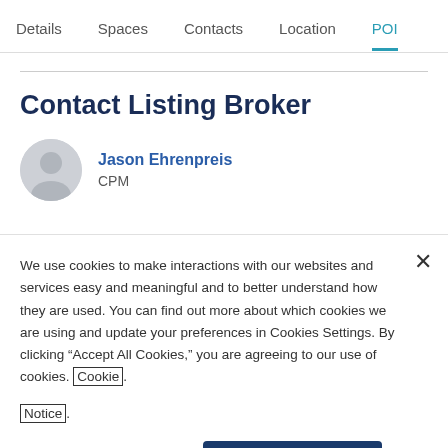Details  Spaces  Contacts  Location  POI
Contact Listing Broker
Jason Ehrenpreis
CPM
We use cookies to make interactions with our websites and services easy and meaningful and to better understand how they are used. You can find out more about which cookies we are using and update your preferences in Cookies Settings. By clicking “Accept All Cookies,” you are agreeing to our use of cookies. Cookie Notice.
Cookies Settings  Accept All Cookies